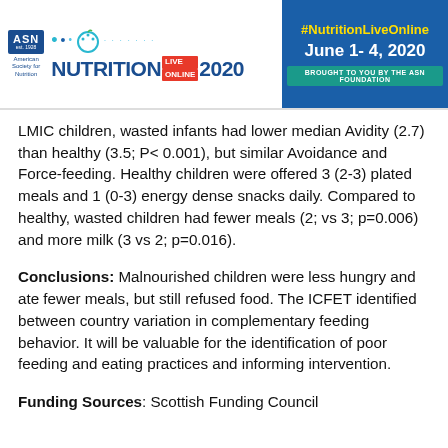Nutrition Live Online 2020 | #NutritionLiveOnline | June 1-4, 2020 | Brought to you by the ASN Foundation
LMIC children, wasted infants had lower median Avidity (2.7) than healthy (3.5; P< 0.001), but similar Avoidance and Force-feeding. Healthy children were offered 3 (2-3) plated meals and 1 (0-3) energy dense snacks daily. Compared to healthy, wasted children had fewer meals (2; vs 3; p=0.006) and more milk (3 vs 2; p=0.016).
Conclusions: Malnourished children were less hungry and ate fewer meals, but still refused food. The ICFET identified between country variation in complementary feeding behavior. It will be valuable for the identification of poor feeding and eating practices and informing intervention.
Funding Sources: Scottish Funding Council